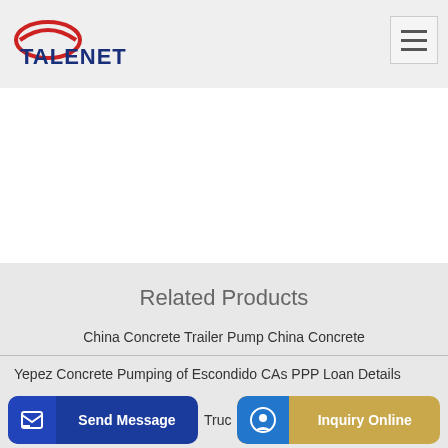[Figure (logo): Talenet logo with red swirl and blue bold text TALENET]
Related Products
China Concrete Trailer Pump China Concrete
Yepez Concrete Pumping of Escondido CAs PPP Loan Details
Send Message
Truc
Inquiry Online